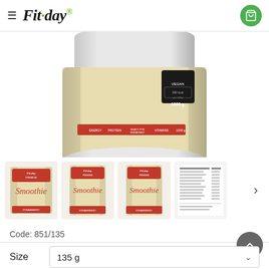[Figure (screenshot): Fit-day website header with hamburger menu icon, Fit-day logo in italic font, and green shopping cart icon button]
[Figure (photo): Partially visible product bag - Fit-day Premium Smoothie in beige/cream color with label showing ENERGY, PROTEIN, READY FOR BREAKFAST, VITAMINS, 1000g]
[Figure (photo): Four product thumbnails: three showing Fit-day Premium Smoothie bags from different angles, one showing nutritional table/label. Next arrow on right side.]
Code: 851/135
Size
135 g